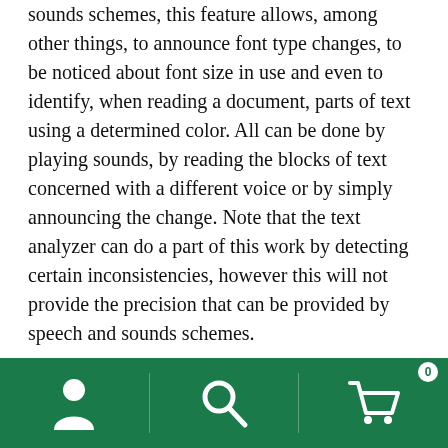sounds schemes, this feature allows, among other things, to announce font type changes, to be noticed about font size in use and even to identify, when reading a document, parts of text using a determined color. All can be done by playing sounds, by reading the blocks of text concerned with a different voice or by simply announcing the change. Note that the text analyzer can do a part of this work by detecting certain inconsistencies, however this will not provide the precision that can be provided by speech and sounds schemes.
In addition, as a reminder, the Canadialog team can offer private or group training on request on the use of assistive technologies. Do not hesitate to contact us to get to know our training offer.
[Figure (other): Green navigation bar at bottom with three icons: user/person icon, search/magnifying glass icon, and shopping cart icon with a badge showing '0']